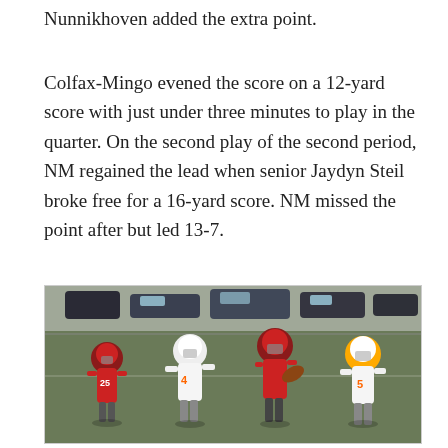Nunnikhoven added the extra point.
Colfax-Mingo evened the score on a 12-yard score with just under three minutes to play in the quarter. On the second play of the second period, NM regained the lead when senior Jaydyn Steil broke free for a 16-yard score. NM missed the point after but led 13-7.
[Figure (photo): Football game action photo showing players in red uniforms and white/orange uniforms competing on the field. Players wearing numbers 4 and 5 in white/orange are visible, along with red-uniformed players. Cars are visible in the background parking area.]